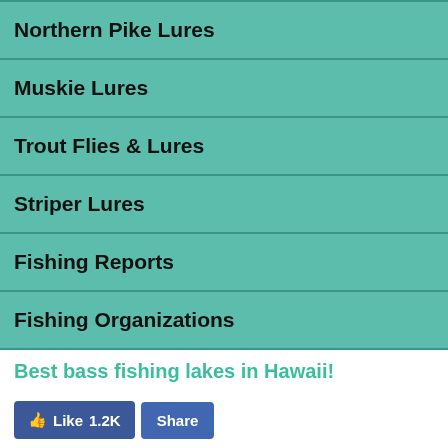Northern Pike Lures
Muskie Lures
Trout Flies & Lures
Striper Lures
Fishing Reports
Fishing Organizations
Best bass fishing lakes in Hawaii!
[Figure (other): Facebook Like (1.2K) and Share buttons]